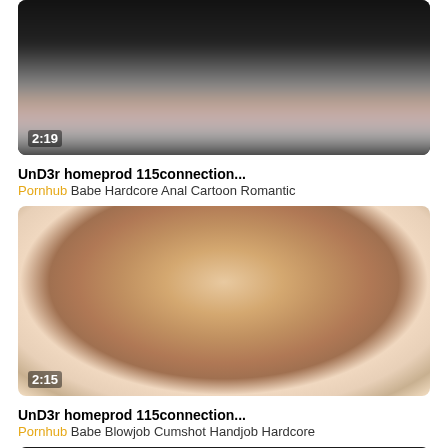[Figure (photo): Video thumbnail with blurred/dark content, duration overlay showing 2:19]
UnD3r homeprod 115connection...
Pornhub Babe Hardcore Anal Cartoon Romantic
[Figure (photo): Video thumbnail showing a blonde woman, duration overlay showing 2:15]
UnD3r homeprod 115connection...
Pornhub Babe Blowjob Cumshot Handjob Hardcore
[Figure (photo): Partial dark video thumbnail at bottom of page]